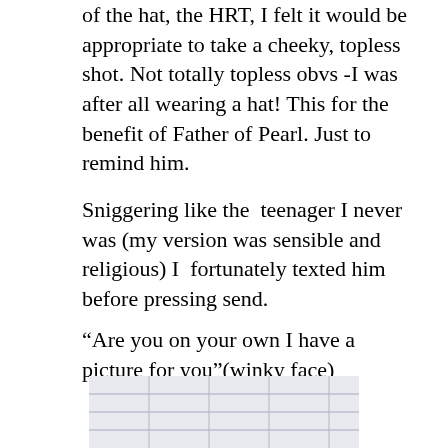of the hat, the HRT, I felt it would be appropriate to take a cheeky, topless shot. Not totally topless obvs -I was after all wearing a hat! This for the benefit of Father of Pearl. Just to remind him.
Sniggering like the  teenager I never was (my version was sensible and religious) I  fortunately texted him before pressing send.
“Are you on your own I have a picture for you”(winky face)
[Figure (photo): Partial view of what appears to be a notebook or lined paper, showing blue ruled lines on a white/light background, cropped at the bottom of the page.]